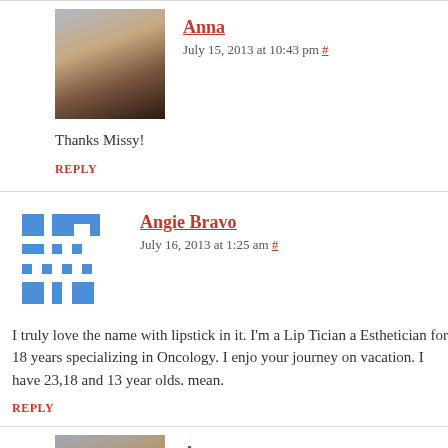[Figure (photo): Avatar photo of Anna - woman in dark top]
Anna
July 15, 2013 at 10:43 pm #
Thanks Missy!
REPLY
[Figure (other): Angie Bravo avatar - blue geometric pixel pattern]
Angie Bravo
July 16, 2013 at 1:25 am #
I truly love the name with lipstick in it. I'm a Lip Tician a Esthetician for 18 years specializing in Oncology. I enjoy your journey on vacation. I have 23,18 and 13 year olds. mean.
REPLY
[Figure (photo): Avatar photo of Anna - woman in dark top]
Anna
July 16, 2013 at 6:32 am #